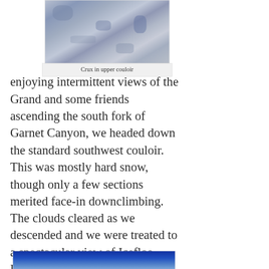[Figure (photo): Photo of crux in upper couloir — snowy slope with boot tracks and dark rock outcroppings visible]
Crux in upper couloir
enjoying intermittent views of the Grand and some friends ascending the south fork of Garnet Canyon, we headed down the standard southwest couloir. This was mostly hard snow, though only a few sections merited face-in downclimbing. The clouds cleared as we descended and we were treated to a spectacular view of Icefloe Lake, west of the Middle-South saddle.
[Figure (photo): Photo partially visible at bottom — blue sky and snowy landscape, Icefloe Lake area]